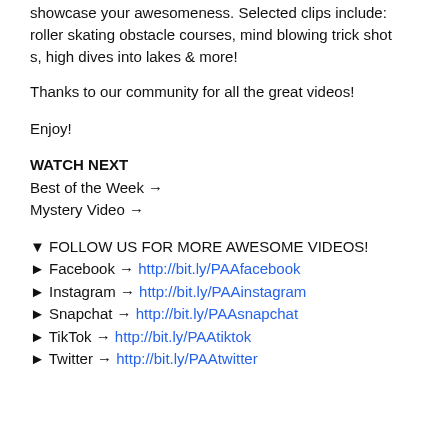showcase your awesomeness. Selected clips include: roller skating obstacle courses, mind blowing trick shots, high dives into lakes & more!
Thanks to our community for all the great videos!
Enjoy!
WATCH NEXT
Best of the Week →
Mystery Video →
▼ FOLLOW US FOR MORE AWESOME VIDEOS!
➤ Facebook → http://bit.ly/PAAfacebook
➤ Instagram → http://bit.ly/PAAinstagram
➤ Snapchat → http://bit.ly/PAAsnapchat
➤ TikTok → http://bit.ly/PAAtiktok
➤ Twitter → http://bit.ly/PAAtwitter